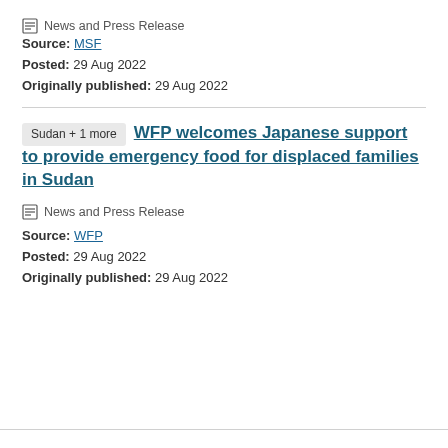News and Press Release
Source: MSF
Posted: 29 Aug 2022
Originally published: 29 Aug 2022
WFP welcomes Japanese support to provide emergency food for displaced families in Sudan
Sudan + 1 more
News and Press Release
Source: WFP
Posted: 29 Aug 2022
Originally published: 29 Aug 2022